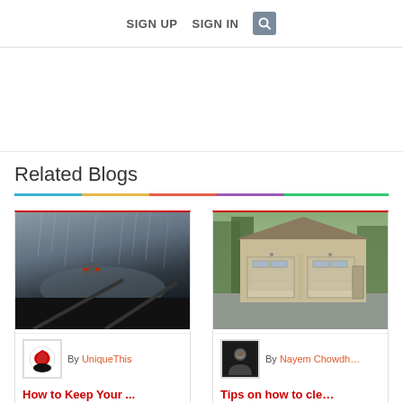SIGN UP   SIGN IN   🔍
Related Blogs
[Figure (photo): Rainy windshield view from inside a car driving in heavy rain]
By UniqueThis
How to Keep Your ...
Imagine driving down the street, and your car's windshield fogs up. So you turn on th…
[Figure (photo): Two-car garage with beige siding and white garage doors surrounded by trees]
By Nayem Chowdh…
Tips on how to cle…
Cleaning is necessary for everything that exists on this planet. Be it the living organisms…